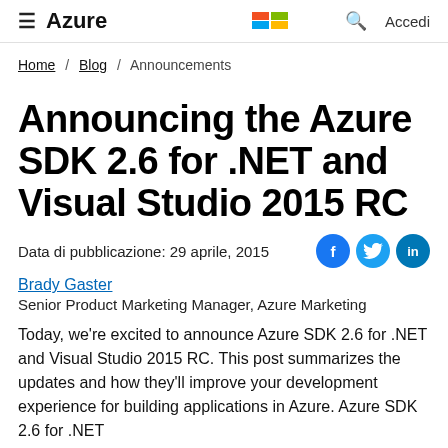≡ Azure | Microsoft | 🔍 | Accedi
Home / Blog / Announcements
Announcing the Azure SDK 2.6 for .NET and Visual Studio 2015 RC
Data di pubblicazione: 29 aprile, 2015
Brady Gaster
Senior Product Marketing Manager, Azure Marketing
Today, we're excited to announce Azure SDK 2.6 for .NET and Visual Studio 2015 RC. This post summarizes the updates and how they'll improve your development experience for building applications in Azure. Azure SDK 2.6 for .NET